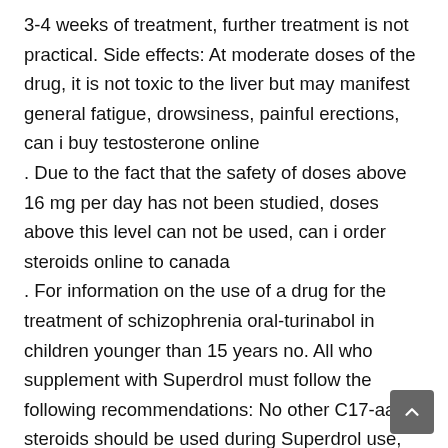3-4 weeks of treatment, further treatment is not practical. Side effects: At moderate doses of the drug, it is not toxic to the liver but may manifest general fatigue, drowsiness, painful erections, can i buy testosterone online
. Due to the fact that the safety of doses above 16 mg per day has not been studied, doses above this level can not be used, can i order steroids online to canada
. For information on the use of a drug for the treatment of schizophrenia oral-turinabol in children younger than 15 years no. All who supplement with Superdrol must follow the following recommendations: No other C17-aa steroids should be used during Superdrol use, can i order steroids online to canada
. Excess alcohol consumption must be avoided. Original andriol testocaps is produced by the